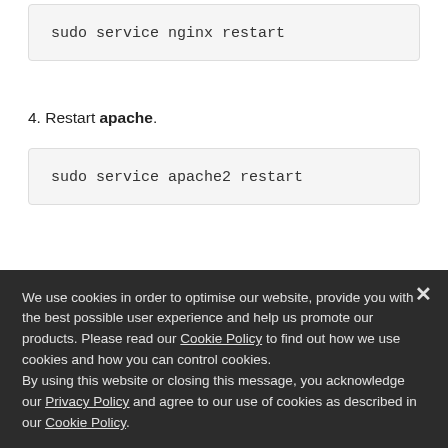sudo service nginx restart
4. Restart apache.
sudo service apache2 restart
5. Add the application in the administrative panel:
Go to Applications → Smart Launcher apps.
We use cookies in order to optimise our website, provide you with the best possible user experience and help us promote our products. Please read our Cookie Policy to find out how we use cookies and how you can control cookies.
By using this website or closing this message, you acknowledge our Privacy Policy and agree to our use of cookies as described in our Cookie Policy.